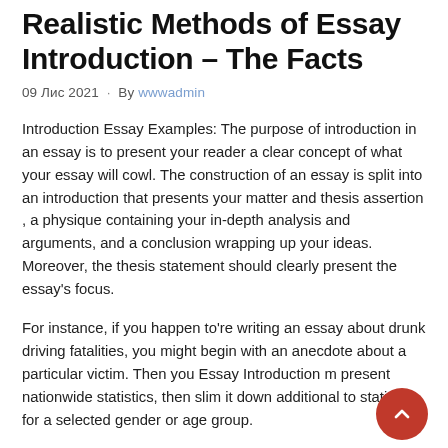Realistic Methods of Essay Introduction – The Facts
09 Лис 2021 · By wwwadmin
Introduction Essay Examples: The purpose of introduction in an essay is to present your reader a clear concept of what your essay will cowl. The construction of an essay is split into an introduction that presents your matter and thesis assertion , a physique containing your in-depth analysis and arguments, and a conclusion wrapping up your ideas. Moreover, the thesis statement should clearly present the essay's focus.
For instance, if you happen to're writing an essay about drunk driving fatalities, you might begin with an anecdote about a particular victim. Then you Essay Introduction m present nationwide statistics, then slim it down additional to statistics for a selected gender or age group.